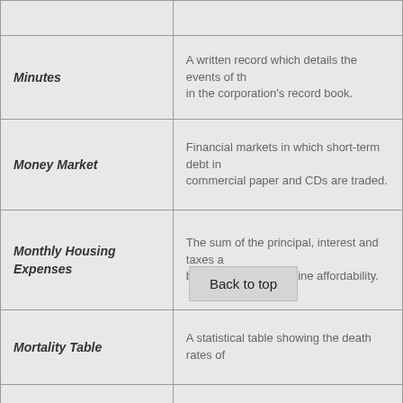| Term | Definition |
| --- | --- |
| Minutes | A written record which details the events of the meeting, kept in the corporation's record book. |
| Money Market | Financial markets in which short-term debt instruments such as commercial paper and CDs are traded. |
| Monthly Housing Expenses | The sum of the principal, interest and taxes and insurance on a monthly basis, used to determine affordability. |
| Mortality Table | A statistical table showing the death rates of a population. |
| Municipal Bond | A tax-exempt bond issued by a state or local government, political subdivision or district. |
| Name Reservation | The name of a corporation or LLC must be distinct from other names on file with the state government. If the name is not unique, the state may reject the articles of incorporation or articles of organization in the case of LLCs. A name can be reserved, usually for 120 days, by applying with the proper state authority. |